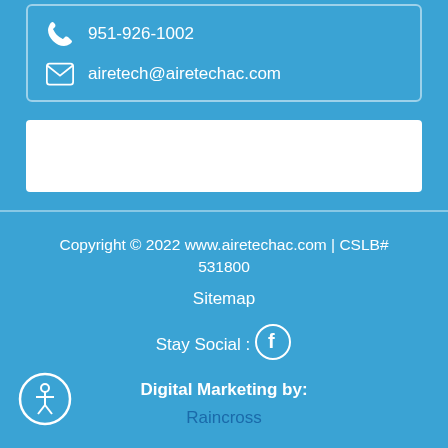951-926-1002
airetech@airetechac.com
Copyright © 2022 www.airetechac.com | CSLB# 531800
Sitemap
Stay Social :
Digital Marketing by:
Raincross